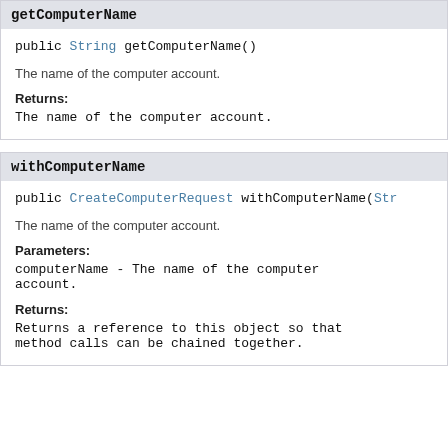getComputerName
public String getComputerName()
The name of the computer account.
Returns:
The name of the computer account.
withComputerName
public CreateComputerRequest withComputerName(Str
The name of the computer account.
Parameters:
computerName - The name of the computer account.
Returns:
Returns a reference to this object so that method calls can be chained together.